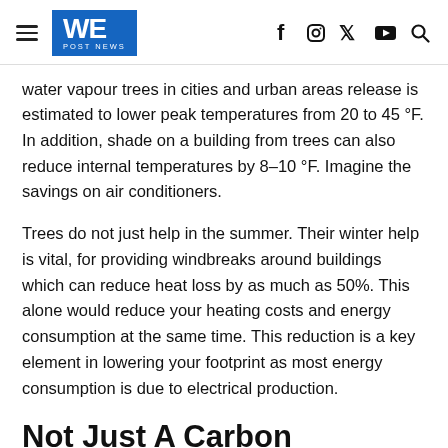WE POST NEWS
water vapour trees in cities and urban areas release is estimated to lower peak temperatures from 20 to 45 °F. In addition, shade on a building from trees can also reduce internal temperatures by 8–10 °F. Imagine the savings on air conditioners.
Trees do not just help in the summer. Their winter help is vital, for providing windbreaks around buildings which can reduce heat loss by as much as 50%. This alone would reduce your heating costs and energy consumption at the same time. This reduction is a key element in lowering your footprint as most energy consumption is due to electrical production.
Not Just A Carbon Footprint, Trees are Beautiful